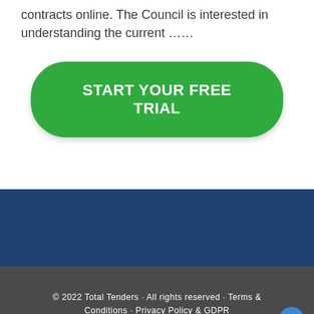contracts online. The Council is interested in understanding the current ……
[Figure (other): Green rounded rectangle button with white bold text reading START YOUR FREE TRIAL]
[Figure (other): Dark blue background section (footer area background)]
© 2022 Total Tenders · All rights reserved · Terms & Conditions · Privacy Policy & GDPR